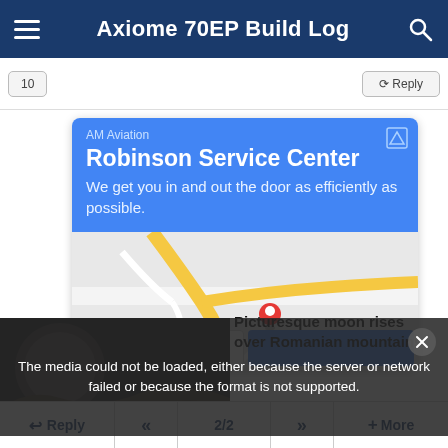Axiome 70EP Build Log
[Figure (screenshot): Mobile app interface showing top navigation bar with hamburger menu, title 'Axiome 70EP Build Log', and search icon on blue background. Below is a partial reply/page navigation sub-bar.]
[Figure (infographic): Advertisement card for AM Aviation / Robinson Service Center with blue background, text 'Robinson Service Center - We get you in and out the door as efficiently as possible.' and a Google Maps snippet with a red location pin.]
The media could not be loaded, either because the server or network failed or because the format is not supported.
Picturesque moon rises over Romanian mountains
Reply  <<  2/2  >>  + More